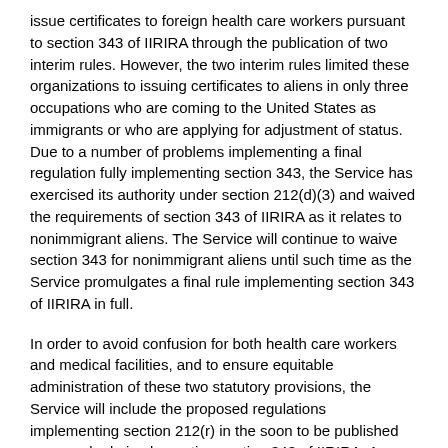issue certificates to foreign health care workers pursuant to section 343 of IIRIRA through the publication of two interim rules. However, the two interim rules limited these organizations to issuing certificates to aliens in only three occupations who are coming to the United States as immigrants or who are applying for adjustment of status. Due to a number of problems implementing a final regulation fully implementing section 343, the Service has exercised its authority under section 212(d)(3) and waived the requirements of section 343 of IIRIRA as it relates to nonimmigrant aliens. The Service will continue to waive section 343 for nonimmigrant aliens until such time as the Service promulgates a final rule implementing section 343 of IIRIRA in full.
In order to avoid confusion for both health care workers and medical facilities, and to ensure equitable administration of these two statutory provisions, the Service will include the proposed regulations implementing section 212(r) in the soon to be published proposed rule implementing section 343 of IIRIRA. As a result, the Service will exercise the authority granted to it in section 212(d)(3) of the Act and waive section 212(r) for nonimmigrant aliens until publication of a final rule implementing both section 343 of IIRIRA and section 212(r) of the Act.